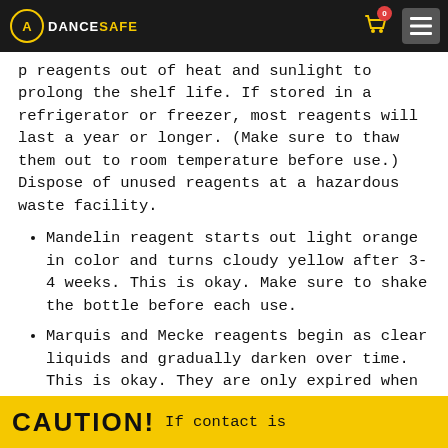DanceSafe
p reagents out of heat and sunlight to prolong the shelf life. If stored in a refrigerator or freezer, most reagents will last a year or longer. (Make sure to thaw them out to room temperature before use.) Dispose of unused reagents at a hazardous waste facility.
Mandelin reagent starts out light orange in color and turns cloudy yellow after 3-4 weeks. This is okay. Make sure to shake the bottle before each use.
Marquis and Mecke reagents begin as clear liquids and gradually darken over time. This is okay. They are only expired when the liquid in the bottle becomes so dark that you can no longer see the color reaction.
CAUTION! If contact is